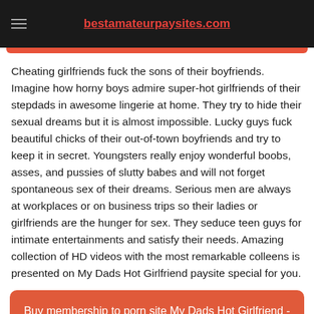bestamateurpaysites.com
Cheating girlfriends fuck the sons of their boyfriends. Imagine how horny boys admire super-hot girlfriends of their stepdads in awesome lingerie at home. They try to hide their sexual dreams but it is almost impossible. Lucky guys fuck beautiful chicks of their out-of-town boyfriends and try to keep it in secret. Youngsters really enjoy wonderful boobs, asses, and pussies of slutty babes and will not forget spontaneous sex of their dreams. Serious men are always at workplaces or on business trips so their ladies or girlfriends are the hunger for sex. They seduce teen guys for intimate entertainments and satisfy their needs. Amazing collection of HD videos with the most remarkable colleens is presented on My Dads Hot Girlfriend paysite special for you.
Buy membership to porn site My Dads Hot Girlfriend - Youngsters fuck beautiful chicks of their stepdads in HD videos